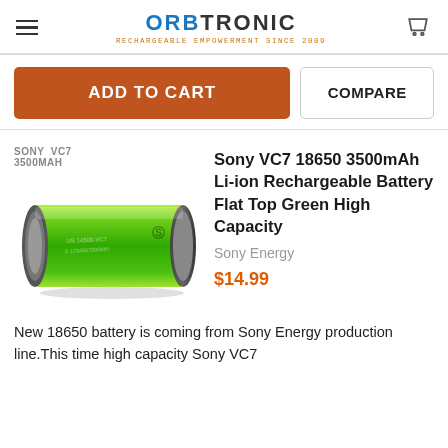ORBTRONIC — RECHARGEABLE EMPOWERMENT SINCE 2009
ADD TO CART
COMPARE
[Figure (photo): Green Sony VC7 3500mAh 18650 cylindrical Li-ion rechargeable battery lying on its side with flat top visible]
Sony VC7 18650 3500mAh Li-ion Rechargeable Battery Flat Top Green High Capacity
Sony Energy
$14.99
New 18650 battery is coming from Sony Energy production line.This time high capacity Sony VC7